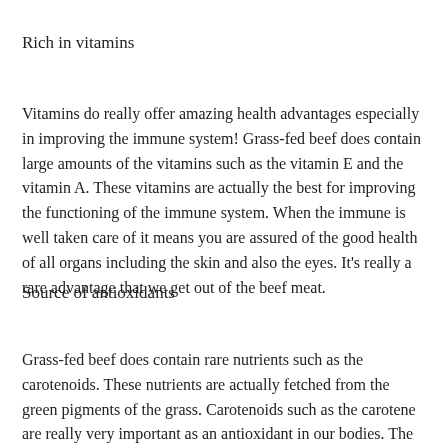Rich in vitamins
Vitamins do really offer amazing health advantages especially in improving the immune system! Grass-fed beef does contain large amounts of the vitamins such as the vitamin E and the vitamin A. These vitamins are actually the best for improving the functioning of the immune system. When the immune is well taken care of it means you are assured of the good health of all organs including the skin and also the eyes. It's really a rare advantage that we get out of the beef meat.
Source of antioxidants
Grass-fed beef does contain rare nutrients such as the carotenoids. These nutrients are actually fetched from the green pigments of the grass. Carotenoids such as the carotene are really very important as an antioxidant in our bodies. The grass fed beef is really rich in this antioxidants and your health will enjoy these benefits from the grass-